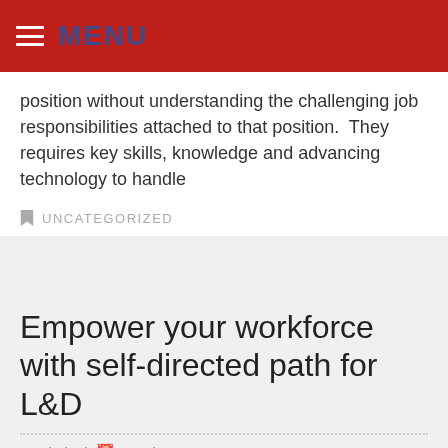MENU
position without understanding the challenging job responsibilities attached to that position.  They requires key skills, knowledge and advancing technology to handle
UNCATEGORIZED
Empower your workforce with self-directed path for L&D
admin  |  October 27, 2016
comments